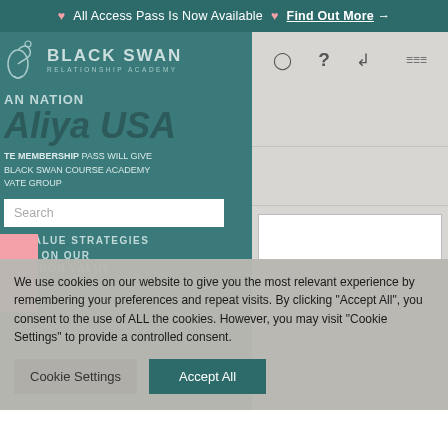♡ All Access Pass Is Now Available ♡ Find Out More →
[Figure (logo): Black Swan Relationship Academy logo with swan icon]
AN NATION
Aliya USA
TE MEMBERSHIP PASS WILL GIVE BLACK SWAN COURSE ACADEMY VATE GROUP
Search
GH VALUE STRATEGIES
CESS ON OUR
OUR HIGH VALUE RNEY
We use cookies on our website to give you the most relevant experience by remembering your preferences and repeat visits. By clicking "Accept All", you consent to the use of ALL the cookies. However, you may visit "Cookie Settings" to provide a controlled consent.
Cookie Settings
Accept All